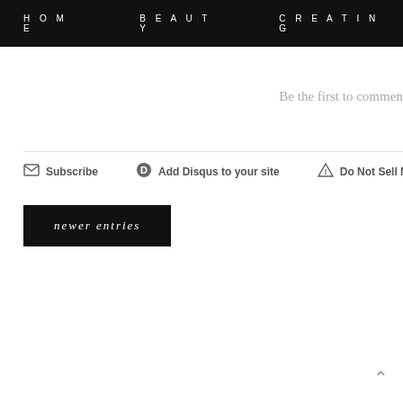HOME   BEAUTY   CREATING
Be the first to comment
Subscribe   Add Disqus to your site   Do Not Sell My Da…
newer entries
^